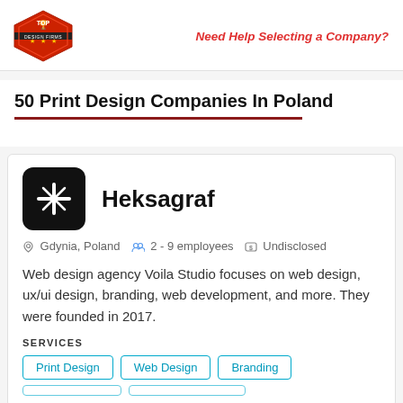[Figure (logo): Top Design Firms hexagon badge logo in red]
Need Help Selecting a Company?
50 Print Design Companies In Poland
[Figure (logo): Heksagraf company logo - black rounded square with white sparkle/star icon]
Heksagraf
Gdynia, Poland   2 - 9 employees   Undisclosed
Web design agency Voila Studio focuses on web design, ux/ui design, branding, web development, and more. They were founded in 2017.
SERVICES
Print Design
Web Design
Branding